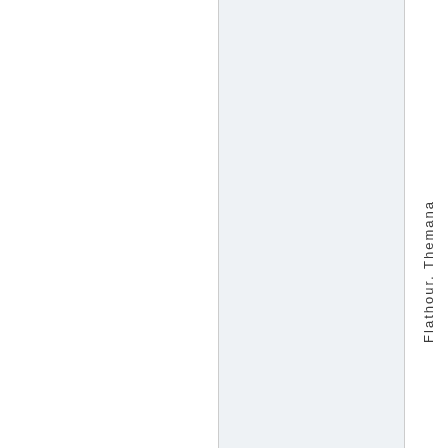[Figure (other): Two-column layout page with white left panel and light blue-gray right panel, with vertical text on the far right reading 'Flathour. Themana']
Flathour. Themana